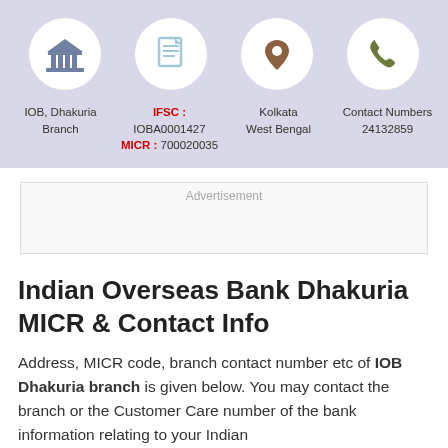[Figure (infographic): Four circular icons on a light purple/blue banner: bank building icon, document icon, location pin icon, and phone icon]
IOB, Dhakuria Branch
IFSC : IOBA0001427 MICR : 700020035
Kolkata West Bengal
Contact Numbers 24132859
Advertisement
Indian Overseas Bank Dhakuria MICR & Contact Info
Address, MICR code, branch contact number etc of IOB Dhakuria branch is given below. You may contact the branch or the Customer Care number of the bank information relating to your Indian